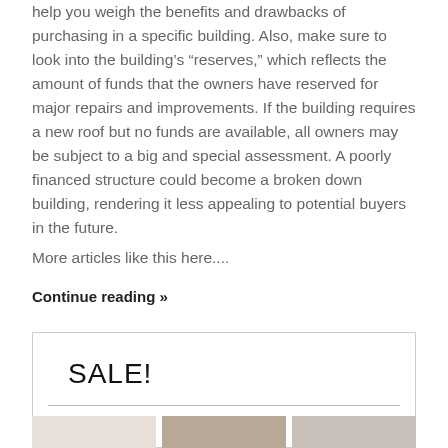help you weigh the benefits and drawbacks of purchasing in a specific building. Also, make sure to look into the building's “reserves,” which reflects the amount of funds that the owners have reserved for major repairs and improvements. If the building requires a new roof but no funds are available, all owners may be subject to a big and special assessment. A poorly financed structure could become a broken down building, rendering it less appealing to potential buyers in the future.
More articles like this here....
Continue reading »
SALE!
[Figure (photo): Three fashion/clothing product images shown side by side at the bottom of the page]